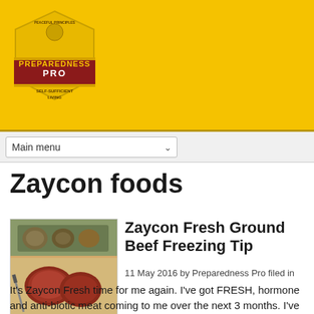[Figure (logo): Preparedness Pro logo badge — hexagonal gold/red badge with text 'PEACEFUL PRINCIPLES', 'PREPAREDNESS PRO', 'SELF-SUFFICIENT LIVING']
Main menu
Zaycon foods
[Figure (photo): Photo of raw ground beef patties on a cutting board with other food items in background]
Zaycon Fresh Ground Beef Freezing Tip
11 May 2016 by Preparedness Pro filed in
It's Zaycon Fresh time for me again. I've got FRESH, hormone and anti-biotic meat coming to me over the next 3 months.  I've canned plenty of their chicken